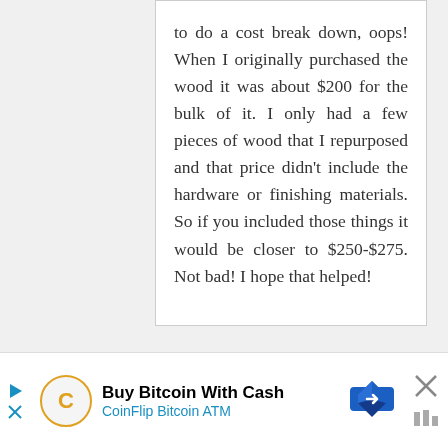to do a cost break down, oops! When I originally purchased the wood it was about $200 for the bulk of it. I only had a few pieces of wood that I repurposed and that price didn't include the hardware or finishing materials. So if you included those things it would be closer to $250-$275. Not bad! I hope that helped!
Reply
[Figure (other): Advertisement banner: Buy Bitcoin With Cash - CoinFlip Bitcoin ATM, with play button, close button, CoinFlip logo, and navigation arrow icon]